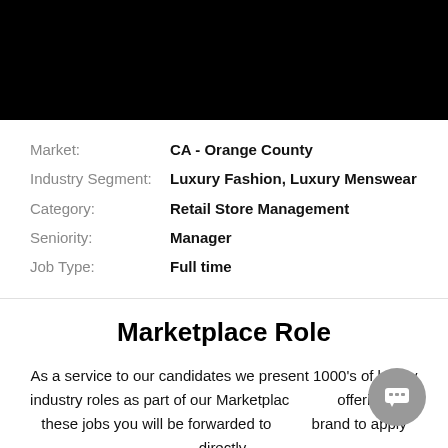[Figure (other): Black header bar image area]
Market: CA - Orange County
Industry Segment: Luxury Fashion, Luxury Menswear
Category: Retail Store Management
Seniority: Manager
Job Type: Full time
Marketplace Role
As a service to our candidates we present 1000's of luxury industry roles as part of our Marketplace offering. For these jobs you will be forwarded to brand to apply directly.